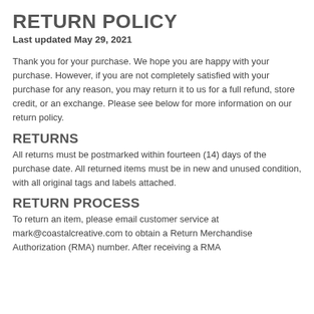RETURN POLICY
Last updated May 29, 2021
Thank you for your purchase. We hope you are happy with your purchase. However, if you are not completely satisfied with your purchase for any reason, you may return it to us for a full refund, store credit, or an exchange. Please see below for more information on our return policy.
RETURNS
All returns must be postmarked within fourteen (14) days of the purchase date. All returned items must be in new and unused condition, with all original tags and labels attached.
RETURN PROCESS
To return an item, please email customer service at mark@coastalcreative.com to obtain a Return Merchandise Authorization (RMA) number. After receiving a RMA